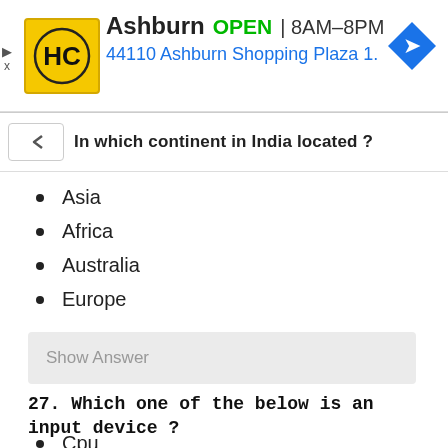[Figure (other): Ad banner: HC logo, Ashburn OPEN 8AM-8PM, 44110 Ashburn Shopping Plaza 1., navigation icon]
In which continent in India located ?
Asia
Africa
Australia
Europe
Show Answer
27. Which one of the below is an input device ?
Cpu